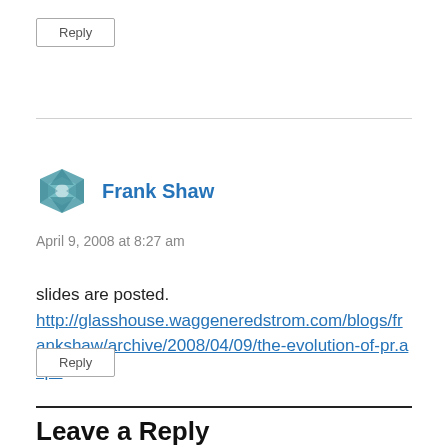Reply
Frank Shaw
April 9, 2008 at 8:27 am
slides are posted.
http://glasshouse.waggeneredstrom.com/blogs/frankshaw/archive/2008/04/09/the-evolution-of-pr.aspx
Reply
Leave a Reply